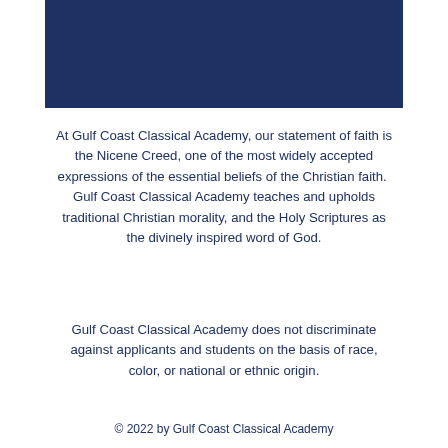[Figure (other): Dark navy blue rectangular banner at the top of the page]
At Gulf Coast Classical Academy, our statement of faith is the Nicene Creed, one of the most widely accepted expressions of the essential beliefs of the Christian faith.  Gulf Coast Classical Academy teaches and upholds traditional Christian morality, and the Holy Scriptures as the divinely inspired word of God.
Gulf Coast Classical Academy does not discriminate against applicants and students on the basis of race, color, or national or ethnic origin.
© 2022 by Gulf Coast Classical Academy